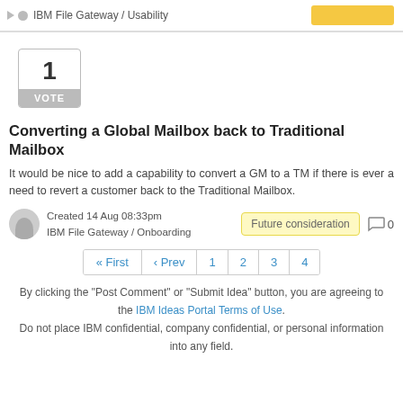IBM File Gateway / Usability
Converting a Global Mailbox back to Traditional Mailbox
It would be nice to add a capability to convert a GM to a TM if there is ever a need to revert a customer back to the Traditional Mailbox.
Created 14 Aug 08:33pm
IBM File Gateway / Onboarding
Future consideration  0
« First  ‹ Prev  1  2  3  4
By clicking the "Post Comment" or "Submit Idea" button, you are agreeing to the IBM Ideas Portal Terms of Use. Do not place IBM confidential, company confidential, or personal information into any field.